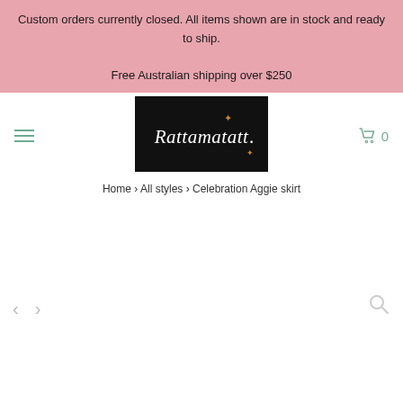Custom orders currently closed. All items shown are in stock and ready to ship.

Free Australian shipping over $250
[Figure (logo): Rattamatatt logo — white cursive script on black background with small gold star accents]
Home › All styles › Celebration Aggie skirt